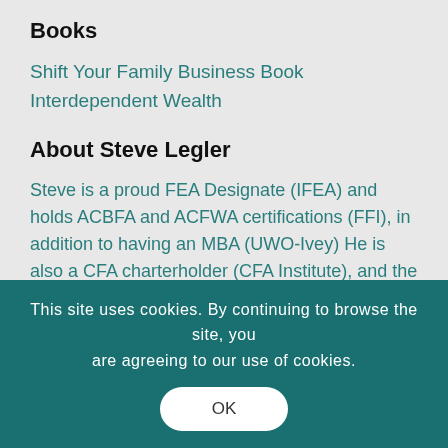Books
Shift Your Family Business Book
Interdependent Wealth
About Steve Legler
Steve is a proud FEA Designate (IFEA) and holds ACBFA and ACFWA certifications (FFI), in addition to having an MBA (UWO-Ivey) He is also a CFA charterholder (CFA Institute), and the author of Shift your Family Business (Friesen Press, 2014).
This site uses cookies. By continuing to browse the site, you are agreeing to our use of cookies.